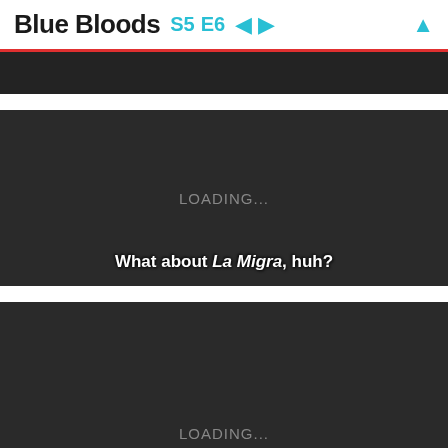Blue Bloods S5 E6 ← →  ↑
[Figure (screenshot): Dark video frame strip at top, partially visible]
[Figure (screenshot): Dark video player frame showing LOADING... text and subtitle: What about La Migra, huh?]
[Figure (screenshot): Dark video player frame showing LOADING... text, partially visible at bottom]